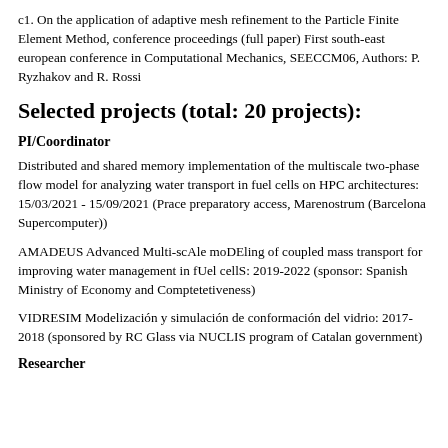c1. On the application of adaptive mesh refinement to the Particle Finite Element Method, conference proceedings (full paper) First south-east european conference in Computational Mechanics, SEECCM06, Authors: P. Ryzhakov and R. Rossi
Selected projects (total: 20 projects):
PI/Coordinator
Distributed and shared memory implementation of the multiscale two-phase flow model for analyzing water transport in fuel cells on HPC architectures: 15/03/2021 - 15/09/2021 (Prace preparatory access, Marenostrum (Barcelona Supercomputer))
AMADEUS Advanced Multi-scAle moDEling of coupled mass transport for improving water management in fUel cellS: 2019-2022 (sponsor: Spanish Ministry of Economy and Comptetetiveness)
VIDRESIM Modelización y simulación de conformación del vidrio: 2017-2018 (sponsored by RC Glass via NUCLIS program of Catalan government)
Researcher